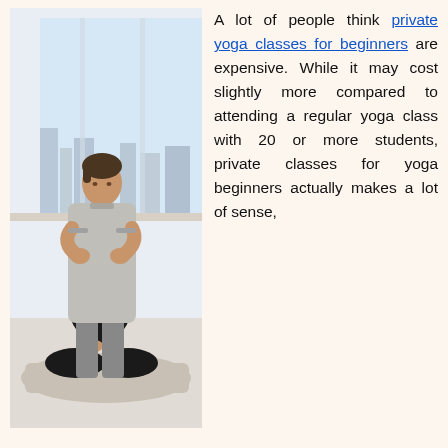[Figure (photo): A yoga instructor (standing male in grey shirt and shorts) placing his hands on the head of a female student seated in a lotus/cross-legged meditation pose on a yoga mat. They are in a bright studio with large windows and a city skyline visible in the background.]
A lot of people think private yoga classes for beginners are expensive. While it may cost slightly more compared to attending a regular yoga class with 20 or more students, private classes for yoga beginners actually makes a lot of sense,